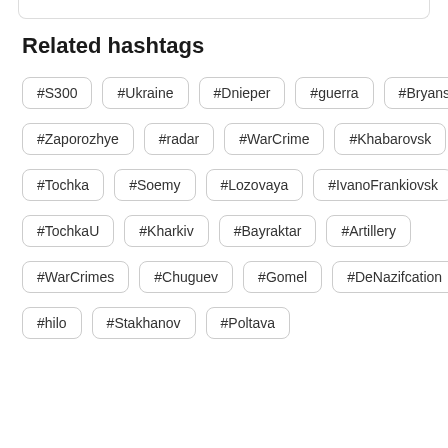Related hashtags
#S300
#Ukraine
#Dnieper
#guerra
#Bryansk
#Zaporozhye
#radar
#WarCrime
#Khabarovsk
#Tochka
#Soemy
#Lozovaya
#IvanoFrankiovsk
#TochkaU
#Kharkiv
#Bayraktar
#Artillery
#WarCrimes
#Chuguev
#Gomel
#DeNazifcation
#hilo
#Stakhanov
#Poltava